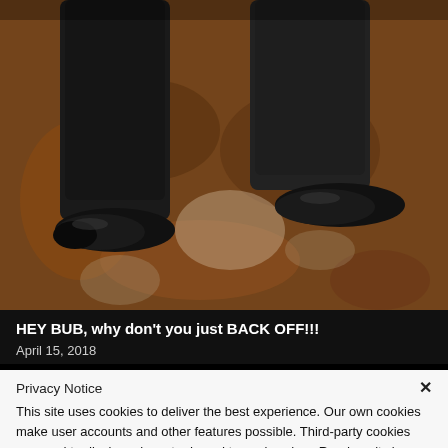[Figure (photo): Close-up photo of a person's legs and shoes, taken from above on a rusty/textured brown surface. The figure is wearing dark trousers and black leather shoes, appearing to walk forward.]
HEY BUB, why don't you just BACK OFF!!!
April 15, 2018
Privacy Notice
This site uses cookies to deliver the best experience. Our own cookies make user accounts and other features possible. Third-party cookies are used to display relevant ads and to analyze how Renderosity is used. By using our site, you acknowledge that you have read and understood our Terms of Service, including our Cookie Policy and our Privacy Policy.